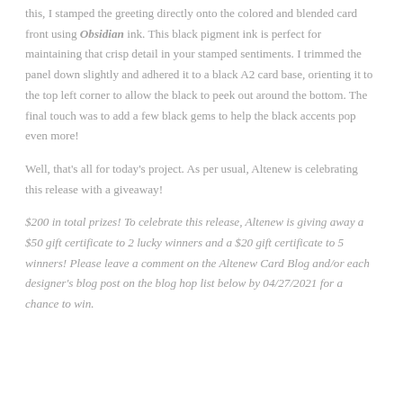this, I stamped the greeting directly onto the colored and blended card front using Obsidian ink. This black pigment ink is perfect for maintaining that crisp detail in your stamped sentiments. I trimmed the panel down slightly and adhered it to a black A2 card base, orienting it to the top left corner to allow the black to peek out around the bottom. The final touch was to add a few black gems to help the black accents pop even more!
Well, that's all for today's project. As per usual, Altenew is celebrating this release with a giveaway!
$200 in total prizes! To celebrate this release, Altenew is giving away a $50 gift certificate to 2 lucky winners and a $20 gift certificate to 5 winners! Please leave a comment on the Altenew Card Blog and/or each designer's blog post on the blog hop list below by 04/27/2021 for a chance to win.